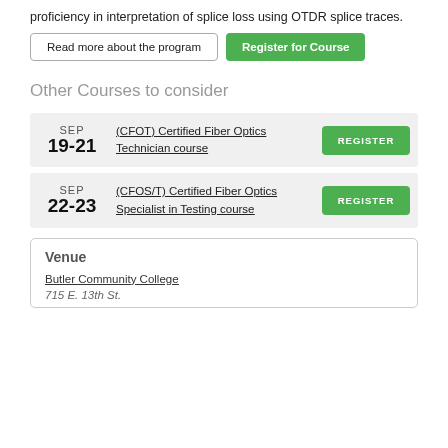proficiency in interpretation of splice loss using OTDR splice traces.
Read more about the program | Register for Course
Other Courses to consider
SEP 19-21 (CFOT) Certified Fiber Optics Technician course REGISTER
SEP 22-23 (CFOS/T) Certified Fiber Optics Specialist in Testing course REGISTER
Venue
Butler Community College
715 E. 13th St.